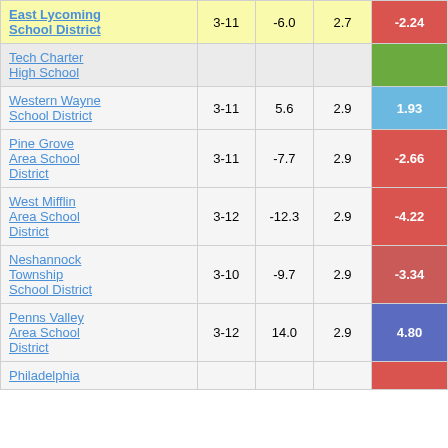| School/District | Grades | Col3 | Col4 | Score |
| --- | --- | --- | --- | --- |
| East Lycoming School District | 3-11 | -6.0 | 2.7 | -2.24 |
| Tech Charter High School |  |  |  |  |
| Western Wayne School District | 3-11 | 5.6 | 2.9 | 1.93 |
| Pine Grove Area School District | 3-11 | -7.7 | 2.9 | -2.66 |
| West Mifflin Area School District | 3-12 | -12.3 | 2.9 | -4.22 |
| Neshannock Township School District | 3-10 | -9.7 | 2.9 | -3.34 |
| Penns Valley Area School District | 3-12 | 14.0 | 2.9 | 4.80 |
| Philadelphia... |  |  |  |  |